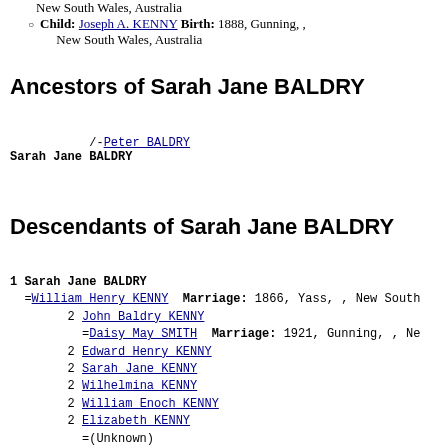Child: Joseph A. KENNY Birth: 1888, Gunning, , New South Wales, Australia
Ancestors of Sarah Jane BALDRY
/-Peter BALDRY
Sarah Jane BALDRY
Descendants of Sarah Jane BALDRY
1 Sarah Jane BALDRY
  =William Henry KENNY  Marriage: 1866, Yass, , New South
      2 John Baldry KENNY
        =Daisy May SMITH  Marriage: 1921, Gunning, , Ne
      2 Edward Henry KENNY
      2 Sarah Jane KENNY
      2 Wilhelmina KENNY
      2 William Enoch KENNY
      2 Elizabeth KENNY
        =(Unknown)
              3 Walter H. KENNY
      2 Mary Ann KENNY